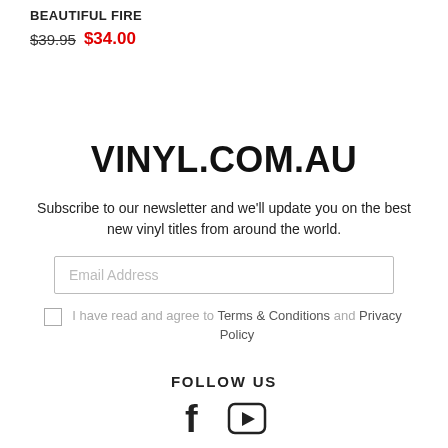BEAUTIFUL FIRE
$39.95 $34.00
VINYL.COM.AU
Subscribe to our newsletter and we'll update you on the best new vinyl titles from around the world.
Email Address
I have read and agree to Terms & Conditions and Privacy Policy
FOLLOW US
[Figure (logo): Facebook and YouTube social media icons]